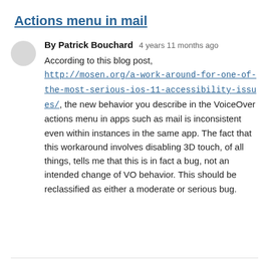Actions menu in mail
By Patrick Bouchard   4 years 11 months ago
According to this blog post, http://mosen.org/a-work-around-for-one-of-the-most-serious-ios-11-accessibility-issues/, the new behavior you describe in the VoiceOver actions menu in apps such as mail is inconsistent even within instances in the same app. The fact that this workaround involves disabling 3D touch, of all things, tells me that this is in fact a bug, not an intended change of VO behavior. This should be reclassified as either a moderate or serious bug.